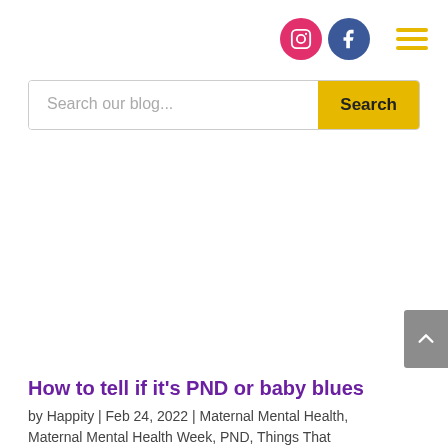Social icons: Instagram, Facebook; Hamburger menu
Search our blog...
How to tell if it's PND or baby blues
by Happity | Feb 24, 2022 | Maternal Mental Health,
Maternal Mental Health Week, PND, Things That